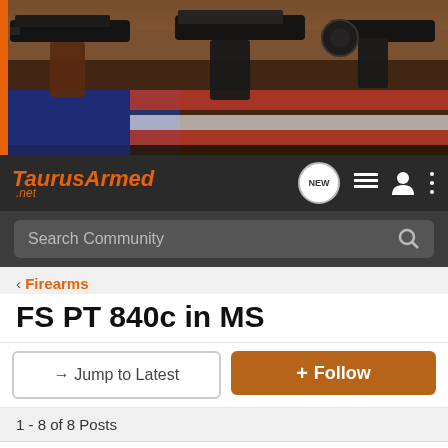[Figure (photo): Website header banner showing three handguns (semi-automatic pistols and a revolver) laid on an American flag with wood background. Orange strip on left side.]
[Figure (screenshot): TaurusArmed.net navigation bar with logo in orange italic text, NEW badge, list icon, user icon, and menu icon on dark background.]
Search Community
< Firearms
FS PT 840c in MS
→ Jump to Latest
+ Follow
1 - 8 of 8 Posts
pmooreknife · Registered
Joined Jun 24, 2011 · 181 Posts